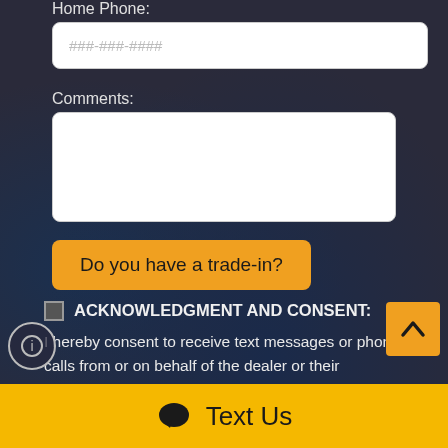Home Phone:
###-###-####
Comments:
Do you have a trade-in?
ACKNOWLEDGMENT AND CONSENT: I hereby consent to receive text messages or phone calls from or on behalf of the dealer or their employees to the mobile phone number I provided above. By opting in, I understand that message and data...
Text Us